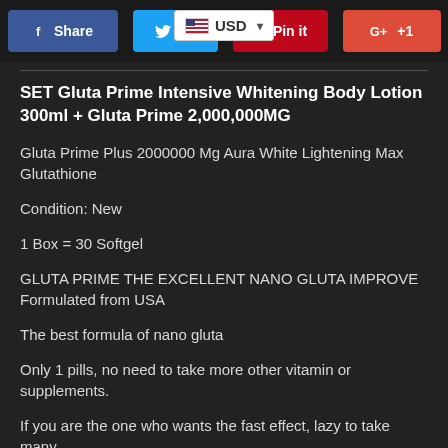Share  Tw  Pin it  G+ +1  USD
SET Gluta Prime Intensive Whitening Body Lotion 300ml + Gluta Prime 2,000,000MG
Gluta Prime Plus 2000000 Mg Aura White Lightening Max Glutathione
Condition: New
1 Box = 30 Softgel
GLUTA PRIME THE EXCELLENT NANO GLUTA IMPROVE Formulated from USA
The best formula of nano gluta
Only 1 pills, no need to take more other vitamin or supplements.
If you are the one who wants the fast effect, lazy to take many